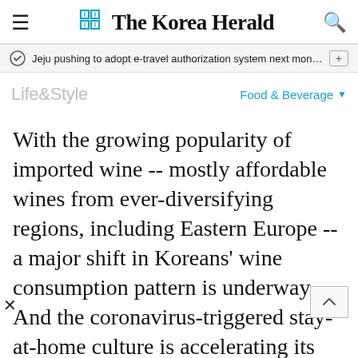The Korea Herald
Jeju pushing to adopt e-travel authorization system next month f…
Life&Style    Food & Beverage
With the growing popularity of imported wine -- mostly affordable wines from ever-diversifying regions, including Eastern Europe -- a major shift in Koreans' wine consumption pattern is underway. And the coronavirus-triggered stay-at-home culture is accelerating its arrival.